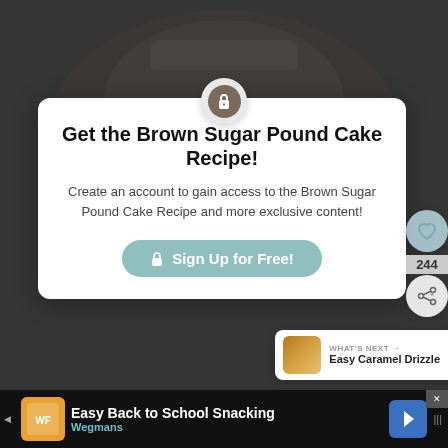[Figure (screenshot): Blurred dark background showing a baked cake image]
Get the Brown Sugar Pound Cake Recipe!
Create an account to gain access to the Brown Sugar Pound Cake Recipe and more exclusive content!
Sign Up for Free!
244
WHAT'S NEXT → Easy Caramel Drizzle
Easy Back to School Snacking Wegmans